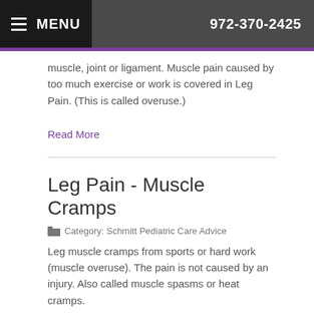MENU  972-370-2425
muscle, joint or ligament. Muscle pain caused by too much exercise or work is covered in Leg Pain. (This is called overuse.)
Read More
Leg Pain - Muscle Cramps
Category: Schmitt Pediatric Care Advice
Leg muscle cramps from sports or hard work (muscle overuse). The pain is not caused by an injury. Also called muscle spasms or heat cramps.
Read More